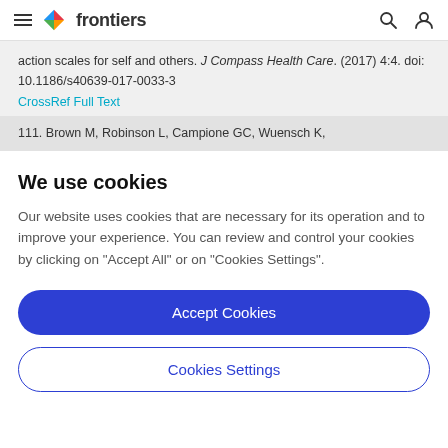frontiers
action scales for self and others. J Compass Health Care. (2017) 4:4. doi: 10.1186/s40639-017-0033-3
CrossRef Full Text
111. Brown M, Robinson L, Campione GC, Wuensch K,
We use cookies
Our website uses cookies that are necessary for its operation and to improve your experience. You can review and control your cookies by clicking on "Accept All" or on "Cookies Settings".
Accept Cookies
Cookies Settings